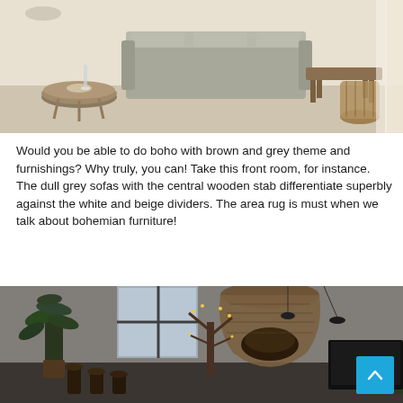[Figure (photo): Interior photo of a bohemian living room with grey sofas, a round wooden coffee table, and a rustic wooden bench. White and beige walls with sheer curtains and a wicker basket.]
Would you be able to do boho with brown and grey theme and furnishings? Why truly, you can! Take this front room, for instance. The dull grey sofas with the central wooden stab differentiate superbly against the white and beige dividers. The area rug is must when we talk about bohemian furniture!
[Figure (photo): Interior photo of a bohemian style living room with lush green plants, hanging industrial-style pendant lights with a large rattan/wicker shade, grey plastered walls, and decorative trees with lights. A dark TV is visible on the right.]